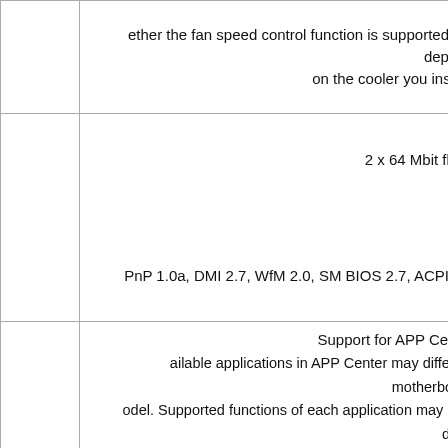|  | ether the fan speed control function is supported will depend on the cooler you install. |
|  | 2 x 64 Mbit flash

PnP 1.0a, DMI 2.7, WfM 2.0, SM BIOS 2.7, ACPI 5.0 |
|  | Support for APP Center

Available applications in APP Center may differ by motherboard model. Supported functions of each application may also differ depending on motherboard specifications.

@BIOS

EasyTune |